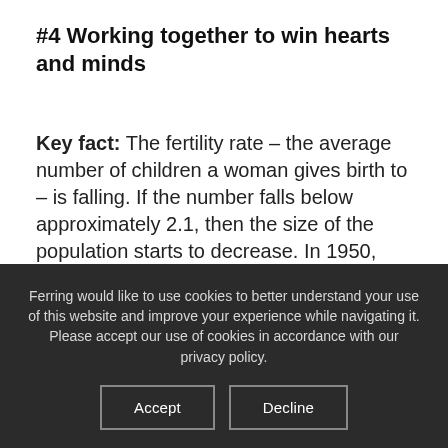#4 Working together to win hearts and minds
Key fact: The fertility rate – the average number of children a woman gives birth to – is falling. If the number falls below approximately 2.1, then the size of the population starts to decrease. In 1950, women were having an average of 4.7 children in their lifetime. Research showed the global fertility rate nearly halved to 2.4 in 2017 – and projections indicate
Ferring would like to use cookies to better understand your use of this website and improve your experience while navigating it. Please accept our use of cookies in accordance with our privacy policy.
Accept    Decline